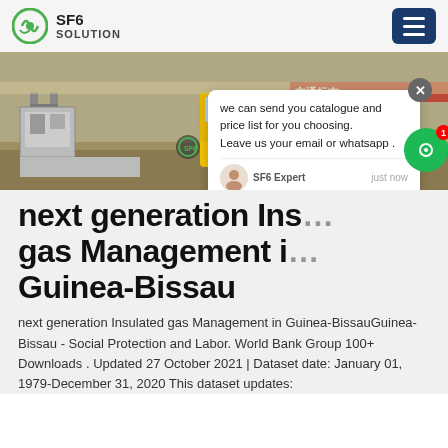SF6 SOLUTION
[Figure (photo): Yellow truck and industrial SF6 gas equipment at an outdoor facility, with Chinese text banner in background]
next generation Insulated gas Management in Guinea-Bissau
next generation Insulated gas Management in Guinea-BissauGuinea-Bissau - Social Protection and Labor. World Bank Group 100+ Downloads . Updated 27 October 2021 | Dataset date: January 01, 1979-December 31, 2020 This dataset updates: